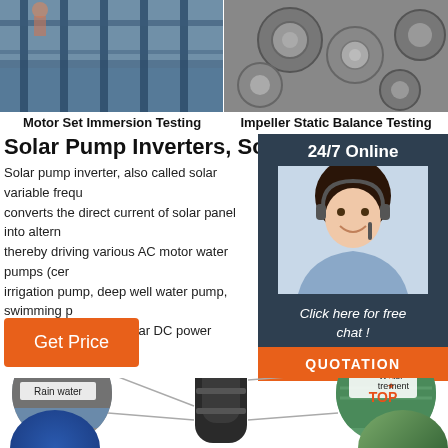[Figure (photo): Two side-by-side industrial testing photos: left shows Motor Set Immersion Testing (water pool with metal structures), right shows Impeller Static Balance Testing (metal impeller components)]
Motor Set Immersion Testing
Impeller Static Balance Testing
Solar Pump Inverters, Solar Pump Drives
Solar pump inverter, also called solar variable frequ converts the direct current of solar panel into altern thereby driving various AC motor water pumps (cer irrigation pump, deep well water pump, swimming p the input can be the solar DC power supply (DC 20
[Figure (photo): Customer service agent (woman with headset) with 24/7 Online label, Click here for free chat text, and QUOTATION button on dark blue panel]
Get Price
[Figure (infographic): Bottom section showing Rain water circle, central submersible pump image, Water treatment TOP circle, with diagonal connecting lines and partial circles at bottom edges]